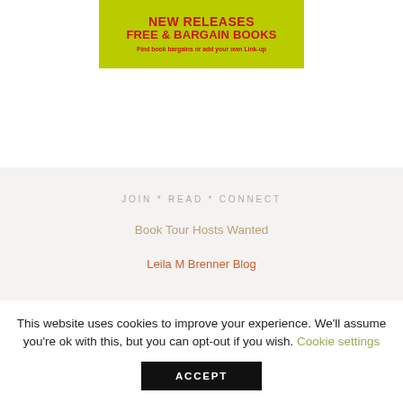[Figure (illustration): Green banner advertisement with red bold text reading 'NEW RELEASES FREE & BARGAIN BOOKS' and subtext 'Find book bargains or add your own Link-up']
JOIN * READ * CONNECT
Book Tour Hosts Wanted
Leila M Brenner Blog
This website uses cookies to improve your experience. We'll assume you're ok with this, but you can opt-out if you wish. Cookie settings
ACCEPT